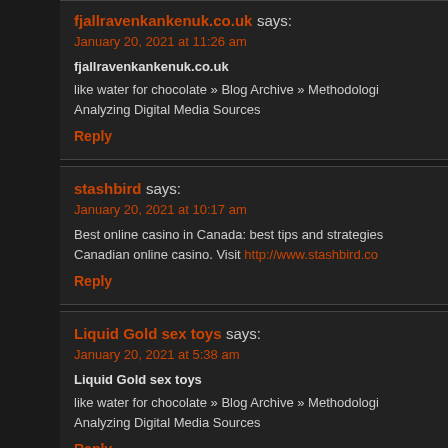fjallravenkankenuk.co.uk says: January 20, 2021 at 11:26 am
fjallravenkankenuk.co.uk

like water for chocolate » Blog Archive » Methodologi Analyzing Digital Media Sources
Reply
stashbird says: January 20, 2021 at 10:17 am
Best online casino in Canada: best tips and strategies Canadian online casino. Visit http://www.stashbird.co
Reply
Liquid Gold sex toys says: January 20, 2021 at 5:38 am
Liquid Gold sex toys

like water for chocolate » Blog Archive » Methodologi Analyzing Digital Media Sources
Reply